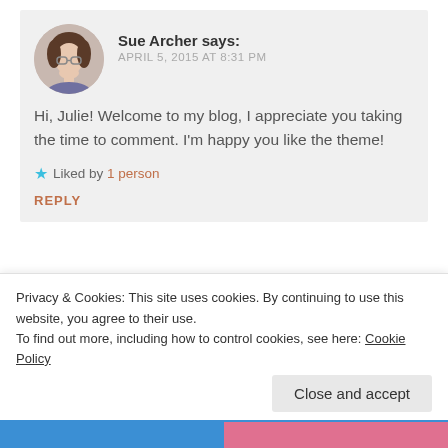Sue Archer says: APRIL 5, 2015 AT 8:31 PM
Hi, Julie! Welcome to my blog, I appreciate you taking the time to comment. I'm happy you like the theme!
★ Liked by 1 person
REPLY
shawn says:
Privacy & Cookies: This site uses cookies. By continuing to use this website, you agree to their use.
To find out more, including how to control cookies, see here: Cookie Policy
Close and accept